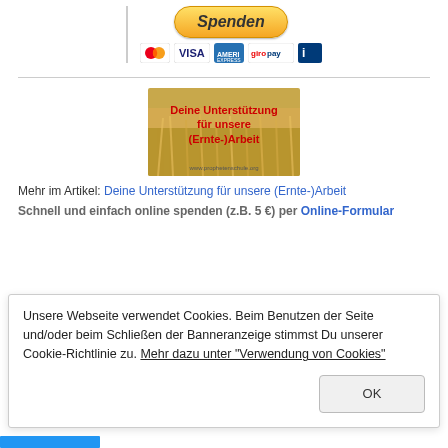[Figure (screenshot): PayPal Spenden button with payment icons (MasterCard, VISA, American Express, giropay, direct debit)]
[Figure (photo): Banner image showing wheat field with red text: 'Deine Unterstützung für unsere (Ernte-)Arbeit' and website URL www.prophetenschule.org]
Mehr im Artikel: Deine Unterstützung für unsere (Ernte-)Arbeit
Schnell und einfach online spenden (z.B. 5 €) per Online-Formular
Unsere Webseite verwendet Cookies. Beim Benutzen der Seite und/oder beim Schließen der Banneranzeige stimmst Du unserer Cookie-Richtlinie zu. Mehr dazu unter "Verwendung von Cookies"